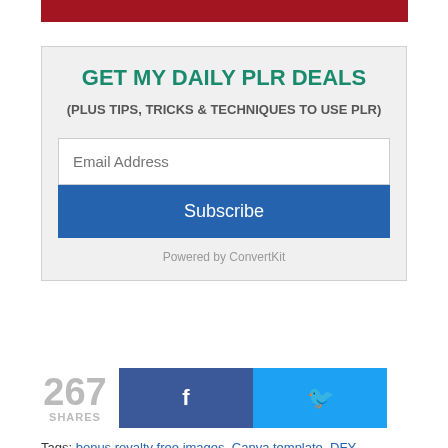[Figure (other): Red decorative bar at top of page]
GET MY DAILY PLR DEALS
(PLUS TIPS, TRICKS & TECHNIQUES TO USE PLR)
[Figure (screenshot): Email signup form with Email Address input field and Subscribe button, powered by ConvertKit]
267 SHARES
Tags: bonus royalty free images, Canva template, DFY,